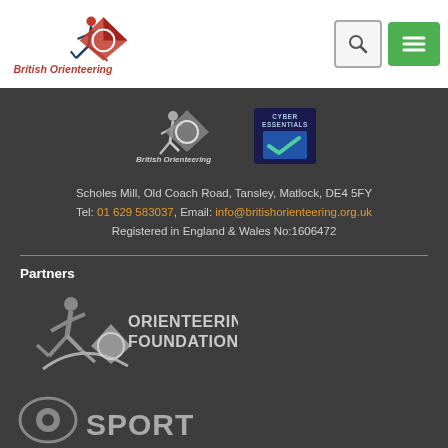[Figure (logo): British Orienteering logo with runner figure and compass rose graphic, text 'British Orienteering' below]
[Figure (logo): Search icon button (magnifying glass) and green hamburger menu button in header]
[Figure (logo): British Orienteering logo (white/grey version) in footer]
[Figure (logo): Cyber Essentials certified badge in navy blue with checkmark]
Scholes Mill, Old Coach Road, Tansley, Matlock, DE4 5FY
Tel: 01 629 583037, Email: info@britishorienteering.org.uk
Registered in England & Wales No:1606472
Partners
[Figure (logo): Orienteering Foundation logo with running figure and compass mark]
[Figure (logo): Sport England logo (partial, cut off at bottom)]